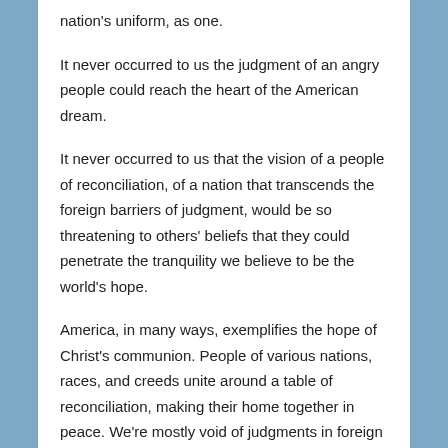nation's uniform, as one.
It never occurred to us the judgment of an angry people could reach the heart of the American dream.
It never occurred to us that the vision of a people of reconciliation, of a nation that transcends the foreign barriers of judgment, would be so threatening to others' beliefs that they could penetrate the tranquility we believe to be the world's hope.
America, in many ways, exemplifies the hope of Christ's communion. People of various nations, races, and creeds unite around a table of reconciliation, making their home together in peace. We're mostly void of judgments in foreign lands that deny civil and human rights. America repudiates political and most religious beliefs that deny